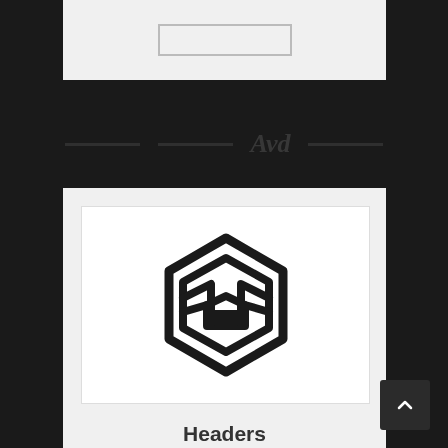[Figure (screenshot): Top portion of a web page showing a light gray card with a bordered box, dark strip with decorative elements, and main content card below.]
[Figure (logo): Avada theme hexagonal logo with stylized 'a' letter inside, rendered in black outline on white background.]
Headers
Avada provides advanced header options like no other theme can.  Quickly create the header of your dreams.